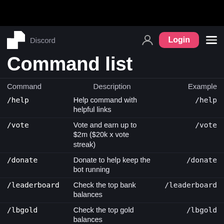Command list
Command list
| Command | Description | Example |
| --- | --- | --- |
| /help | Help command with helpful links | /help |
| /vote | Vote and earn up to $2m ($20k x vote streak) | /vote |
| /donate | Donate to help keep the bot running | /donate |
| /leaderboard | Check the top bank balances | /leaderboard |
| /lbgold | Check the top gold balances | /lbgold |
| /boop | Boop someone | /boop @user |
| /hug | Hug someone | /hug @user |
| /kiss | Kiss someone | /kiss @user |
| /pat | Pat someone | /pat @user |
| /poke | Poke someone | /poke @user |